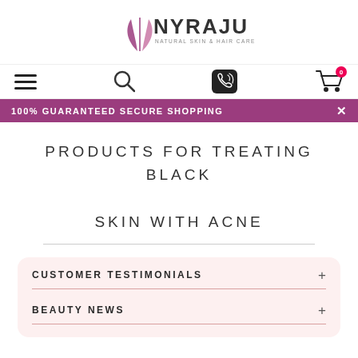[Figure (logo): NYRAJU Natural Skin & Hair Care logo with a stylized flower/leaf icon in pink/purple]
[Figure (infographic): Navigation bar with hamburger menu icon, search icon, phone/viber icon, and shopping cart icon with 0 badge]
[Figure (infographic): Purple banner reading '100% GUARANTEED SECURE SHOPPING' with an X close button]
PRODUCTS FOR TREATING BLACK SKIN WITH ACNE
CUSTOMER TESTIMONIALS
BEAUTY NEWS